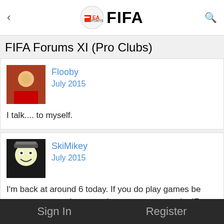FIFA Forums XI (Pro Clubs) — EA Sports FIFA
FIFA Forums XI (Pro Clubs)
Flooby
July 2015

I talk.... to myself.
SkiMikey
July 2015

I'm back at around 6 today. If you do play games be sure to post results + top player so we can make IF cards. I'm thinking of making them each season then having a TOTS cards for best player that season
JakeskillzALot
Sign In    Register